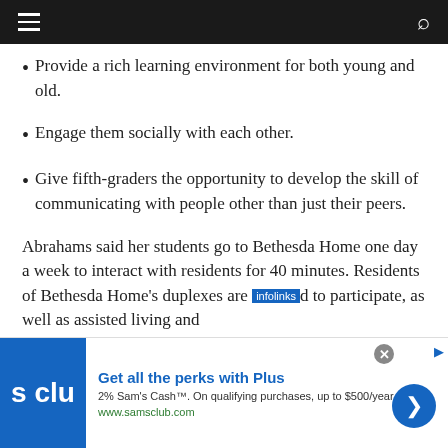Provide a rich learning environment for both young and old.
Engage them socially with each other.
Give fifth-graders the opportunity to develop the skill of communicating with people other than just their peers.
Abrahams said her students go to Bethesda Home one day a week to interact with residents for 40 minutes. Residents of Bethesda Home's duplexes are invited to participate, as well as assisted living and
[Figure (screenshot): Advertisement banner for Sam's Club with infolinks label, showing 'Get all the perks with Plus' with 2% Sam's Cash offer and www.samsclub.com URL]